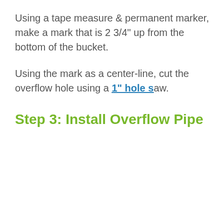Using a tape measure & permanent marker, make a mark that is 2 3/4" up from the bottom of the bucket.
Using the mark as a center-line, cut the overflow hole using a 1" hole saw.
Step 3: Install Overflow Pipe